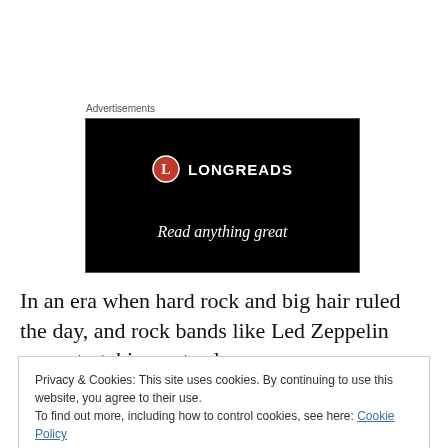Advertisements
[Figure (logo): Longreads advertisement banner on black background with circular red L logo and text 'LONGREADS' and tagline 'Read anything great']
In an era when hard rock and big hair ruled the day, and rock bands like Led Zeppelin were stretching out solos
Privacy & Cookies: This site uses cookies. By continuing to use this website, you agree to their use.
To find out more, including how to control cookies, see here: Cookie Policy
Close and accept